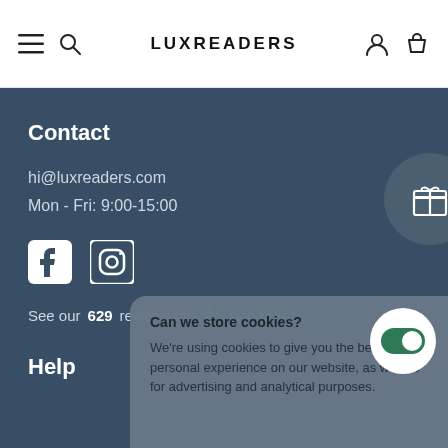LUXREADERS
Contact
hi@luxreaders.com
Mon - Fri: 9:00-15:00
[Figure (other): Social media icons: Facebook and Instagram]
See our 629 reviews on Trustpilot
Help
Can we store cookies? We're using cookies to give you the best personal experience on our website, as well as for advertising and analytical purposes.